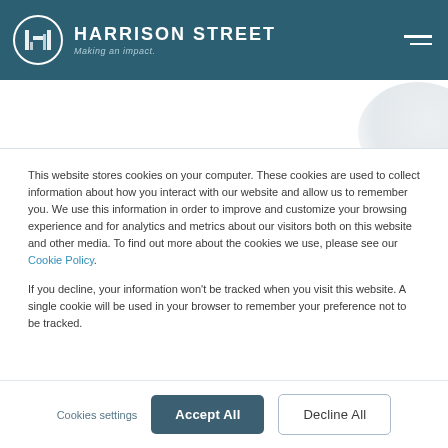HARRISON STREET Making an impact.
2022 : 2021 : 2020 : 2019 : 2018 : 2017 : 2016 : 2015 :
This website stores cookies on your computer. These cookies are used to collect information about how you interact with our website and allow us to remember you. We use this information in order to improve and customize your browsing experience and for analytics and metrics about our visitors both on this website and other media. To find out more about the cookies we use, please see our Cookie Policy.
If you decline, your information won't be tracked when you visit this website. A single cookie will be used in your browser to remember your preference not to be tracked.
Cookies settings   Accept All   Decline All